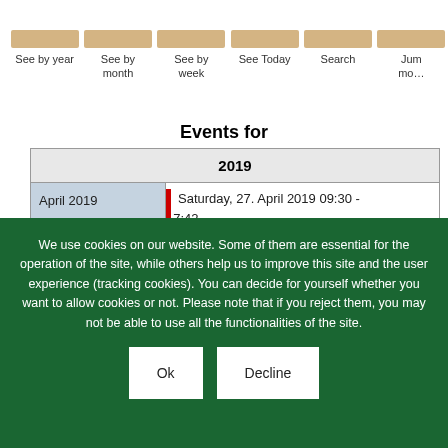See by year | See by month | See by week | See Today | Search | Jump to month
Events for
| 2019 |
| --- |
| April 2019 | Saturday, 27. April 2019 09:30 - 17:42 |
We use cookies on our website. Some of them are essential for the operation of the site, while others help us to improve this site and the user experience (tracking cookies). You can decide for yourself whether you want to allow cookies or not. Please note that if you reject them, you may not be able to use all the functionalities of the site.
Ok | Decline